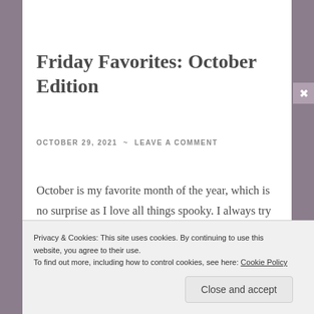Friday Favorites: October Edition
OCTOBER 29, 2021  ~  LEAVE A COMMENT
October is my favorite month of the year, which is no surprise as I love all things spooky. I always try to get in as many spooky movies, books, and
Privacy & Cookies: This site uses cookies. By continuing to use this website, you agree to their use.
To find out more, including how to control cookies, see here: Cookie Policy
Close and accept